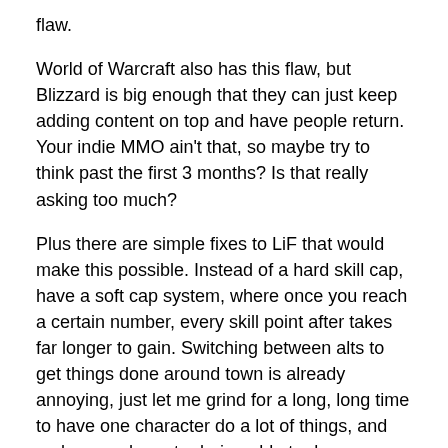flaw.
World of Warcraft also has this flaw, but Blizzard is big enough that they can just keep adding content on top and have people return. Your indie MMO ain't that, so maybe try to think past the first 3 months? Is that really asking too much?
Plus there are simple fixes to LiF that would make this possible. Instead of a hard skill cap, have a soft cap system, where once you reach a certain number, every skill point after takes far longer to gain. Switching between alts to get things done around town is already annoying, just let me grind for a long, long time to have one character do a lot of things, and make one character being able to do everything take nearly forever, that's fine. Another fix is rather than having a cap on material quality,